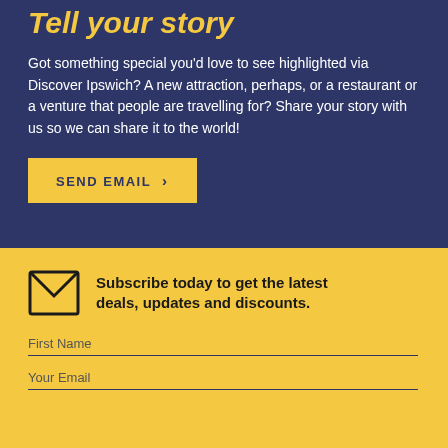Tell your story
Got something special you’d love to see highlighted via Discover Ipswich? A new attraction, perhaps, or a restaurant or a venture that people are travelling for? Share your story with us so we can share it to the world!
SEND EMAIL ›
Subscribe today to get the latest deals, updates and discounts.
First Name
Your Email